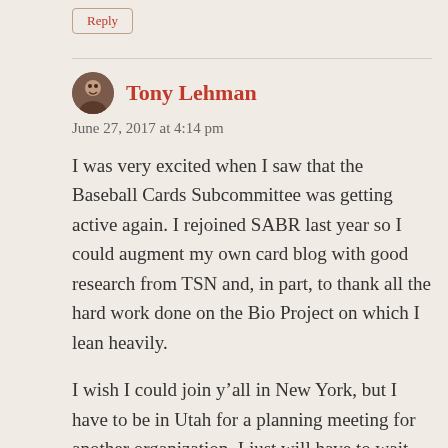Reply
Tony Lehman
June 27, 2017 at 4:14 pm
I was very excited when I saw that the Baseball Cards Subcommittee was getting active again. I rejoined SABR last year so I could augment my own card blog with good research from TSN and, in part, to thank all the hard work done on the Bio Project on which I lean heavily.
I wish I could join y’all in New York, but I have to be in Utah for a planning meeting for another organization. I just will have to wait till